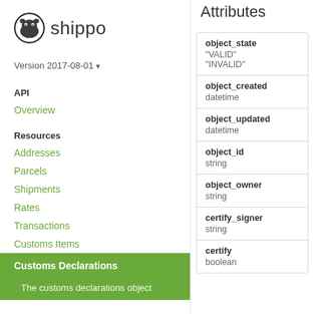[Figure (logo): Shippo logo: dark grey hippo head icon with 'shippo' text]
Version 2017-08-01 ▾
API
Overview
Resources
Addresses
Parcels
Shipments
Rates
Transactions
Customs Items
Customs Declarations
The customs declarations object
Attributes
| Attribute | Type/Values |
| --- | --- |
| object_state | "VALID"
"INVALID" |
| object_created | datetime |
| object_updated | datetime |
| object_id | string |
| object_owner | string |
| certify_signer | string |
| certify | boolean |